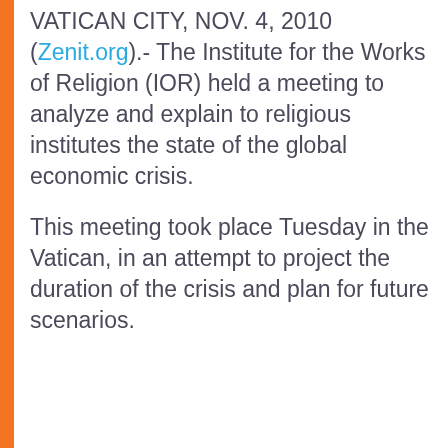VATICAN CITY, NOV. 4, 2010 (Zenit.org).- The Institute for the Works of Religion (IOR) held a meeting to analyze and explain to religious institutes the state of the global economic crisis.
This meeting took place Tuesday in the Vatican, in an attempt to project the duration of the crisis and plan for future scenarios.